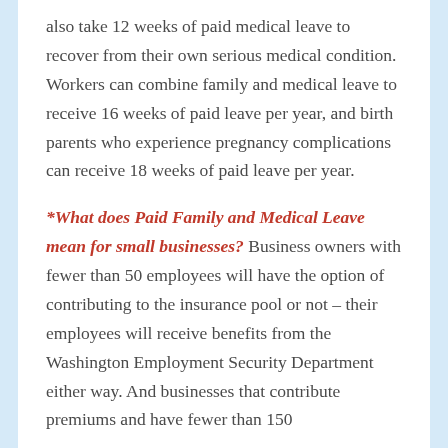also take 12 weeks of paid medical leave to recover from their own serious medical condition. Workers can combine family and medical leave to receive 16 weeks of paid leave per year, and birth parents who experience pregnancy complications can receive 18 weeks of paid leave per year.
*What does Paid Family and Medical Leave mean for small businesses? Business owners with fewer than 50 employees will have the option of contributing to the insurance pool or not – their employees will receive benefits from the Washington Employment Security Department either way. And businesses that contribute premiums and have fewer than 150...